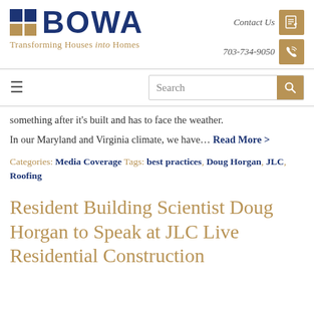[Figure (logo): BOWA logo with blue and gold grid icon and text 'BOWA', tagline 'Transforming Houses into Homes']
[Figure (other): Contact Us icon (document/pen) and phone icon buttons on the right side of header]
≡ (hamburger menu)
Search
something after it's built and has to face the weather.
In our Maryland and Virginia climate, we have… Read More >
Categories: Media Coverage Tags: best practices, Doug Horgan, JLC, Roofing
Resident Building Scientist Doug Horgan to Speak at JLC Live Residential Construction